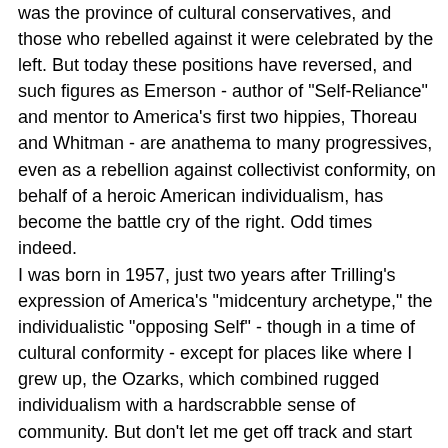was the province of cultural conservatives, and those who rebelled against it were celebrated by the left. But today these positions have reversed, and such figures as Emerson - author of "Self-Reliance" and mentor to America's first two hippies, Thoreau and Whitman - are anathema to many progressives, even as a rebellion against collectivist conformity, on behalf of a heroic American individualism, has become the battle cry of the right. Odd times indeed.
I was born in 1957, just two years after Trilling's expression of America's "midcentury archetype," the individualistic "opposing Self" - though in a time of cultural conformity - except for places like where I grew up, the Ozarks, which combined rugged individualism with a hardscrabble sense of community. But don't let me get off track and start monologuing! My point is that I was born early enough to learn the classic American works of literature, particularly as an undergrad, just before the Left replaced the traditional canon with works by marginalized groups, which I began to read in my spare time as a history grad student. I learned